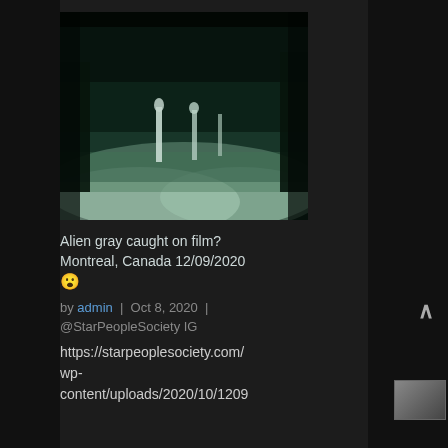[Figure (screenshot): Night-vision or green-tinted video still showing blurry figures in a misty outdoor scene, possibly security camera footage]
Alien gray caught on film? Montreal, Canada 12/09/2020 😲
by admin | Oct 8, 2020 |
@StarPeopleSociety IG
https://starpeoplesociety.com/wp-content/uploads/2020/10/1209